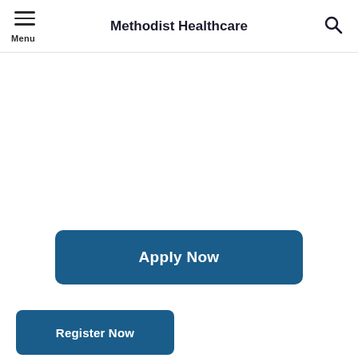Methodist Healthcare
Apply Now
Register Now